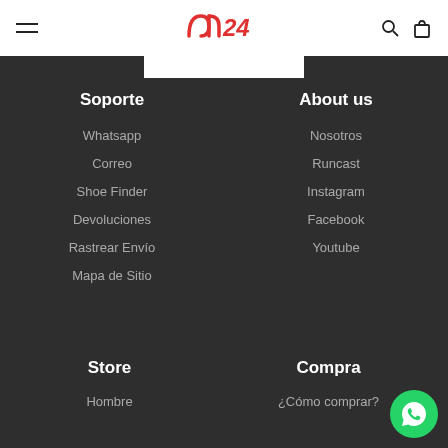RUN24 navigation header with menu, logo, search, and bag icons
Soporte
Whatsapp
Correo
Shoe Finder
Devoluciones
Rastrear Envío
Mapa de Sitio
About us
Nosotros
Runcast
Instagram
Facebook
Youtube
Store
Hombre
Compra
¿Cómo comprar?